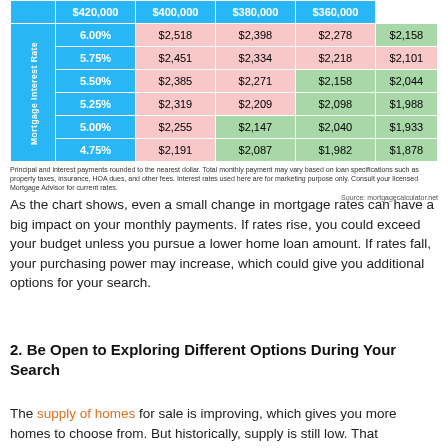|  | $420,000 | $400,000 | $380,000 | $360,000 |
| --- | --- | --- | --- | --- |
| 6.00% | $2,518 | $2,398 | $2,278 | $2,158 |
| 5.75% | $2,451 | $2,334 | $2,218 | $2,101 |
| 5.50% | $2,385 | $2,271 | $2,158 | $2,044 |
| 5.25% | $2,319 | $2,209 | $2,098 | $1,988 |
| 5.00% | $2,255 | $2,147 | $2,040 | $1,933 |
| 4.75% | $2,191 | $2,087 | $1,982 | $1,878 |
Principal and interest payments rounded to the nearest dollar. Total monthly payment may vary based on loan specifications such as property taxes, insurance, HOA dues, and other fees. Interest rates used here are for marketing purpose only. Consult your licensed Mortgage Advisor for current rates.
Source: mortgagecalculator.net
As the chart shows, even a small change in mortgage rates can have a big impact on your monthly payments. If rates rise, you could exceed your budget unless you pursue a lower home loan amount. If rates fall, your purchasing power may increase, which could give you additional options for your search.
2. Be Open to Exploring Different Options During Your Search
The supply of homes for sale is improving, which gives you more homes to choose from. But historically, supply is still low. That